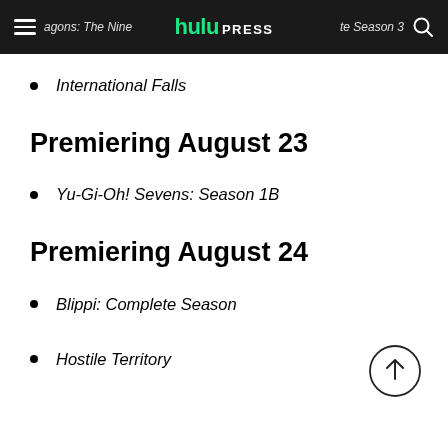hulu PRESS | agons: The Nine... te Season 3
International Falls
Premiering August 23
Yu-Gi-Oh! Sevens: Season 1B
Premiering August 24
Blippi: Complete Season
Hostile Territory